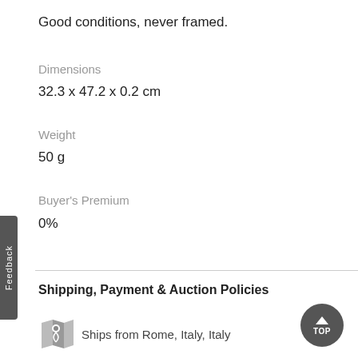Good conditions, never framed.
Dimensions
32.3 x 47.2 x 0.2 cm
Weight
50 g
Buyer's Premium
0%
Shipping, Payment & Auction Policies
Ships from Rome, Italy, Italy